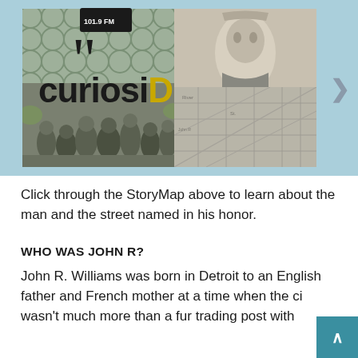[Figure (screenshot): CuriosiD StoryMap banner showing historical photos, a portrait illustration, a map overlay, hexagon pattern background, and the 'curiosiD' logo text with yellow D, microphone icon, and right chevron navigation arrow on a light blue background.]
Click through the StoryMap above to learn about the man and the street named in his honor.
WHO WAS JOHN R?
John R. Williams was born in Detroit to an English father and French mother at a time when the ci wasn't much more than a fur trading post with